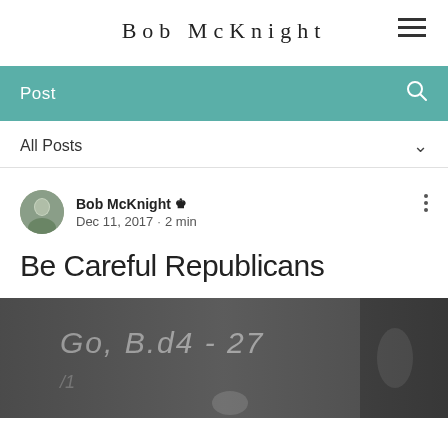Bob McKnight
Post
All Posts
Bob McKnight  Dec 11, 2017 · 2 min
Be Careful Republicans
[Figure (photo): Black and white photo of a chalkboard with handwriting showing 'Go B.d4 - 27' and a blurry figure in background]